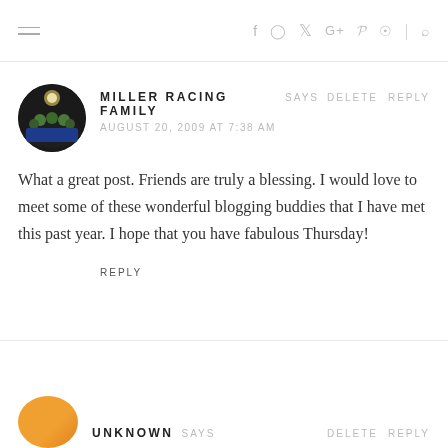navigation header with social icons
MILLER RACING FAMILY SAYS  AUGUST 20, 2009 AT 7:38 AM  What a great post. Friends are truly a blessing. I would love to meet some of these wonderful blogging buddies that I have met this past year. I hope that you have fabulous Thursday!
REPLY
UNKNOWN SAYS  DELETE  REPLY